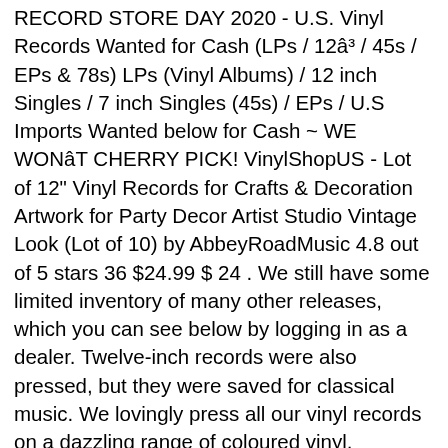RECORD STORE DAY 2020 - U.S. Vinyl Records Wanted for Cash (LPs / 12â³ / 45s / EPs & 78s) LPs (Vinyl Albums) / 12 inch Singles / 7 inch Singles (45s) / EPs / U.S Imports Wanted below for Cash ~ WE WONâT CHERRY PICK! VinylShopUS - Lot of 12" Vinyl Records for Crafts & Decoration Artwork for Party Decor Artist Studio Vintage Look (Lot of 10) by AbbeyRoadMusic 4.8 out of 5 stars 36 $24.99 $ 24 . We still have some limited inventory of many other releases, which you can see below by logging in as a dealer. Twelve-inch records were also pressed, but they were saved for classical music. We lovingly press all our vinyl records on a dazzling range of coloured vinyl, including swirl-coloured vinyl, multi-coloured vinylâ¦ Well you're in luck, because here they come. 7 Inch Vinyl Records For Sale The 7 inch single became the major form of record sales in the early 1950's and continued into the 60's and 70's. Categories. or Best Offer. We use cookies to analyse how our visitors use this website and to help us provide the best possible experience for users. for sale vinyl lps and 7 inch singles from 50p to £5 browse at your leisure collect from pr50ol vinyl